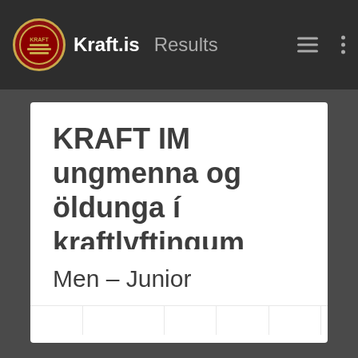Kraft.is  Results
KRAFT IM ungmenna og öldunga í kraftlyftingum
09-06-2018
Akranes, Iceland
Men – Junior